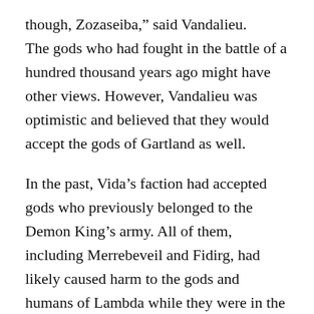though, Zozaseiba,” said Vandalieu. The gods who had fought in the battle of a hundred thousand years ago might have other views. However, Vandalieu was optimistic and believed that they would accept the gods of Gartland as well.
In the past, Vida’s faction had accepted gods who previously belonged to the Demon King’s army. All of them, including Merrebeveil and Fidirg, had likely caused harm to the gods and humans of Lambda while they were in the Demon King’s army. Vida’s faction had been open-minded enough to accept them, so it was likely that this open-mindedness would extend to not only Povaz and the others, but even to Zozaseiba as well… though it was possible that Zozaseiba would take an iron fist fr⁠[icon]⁠Talos